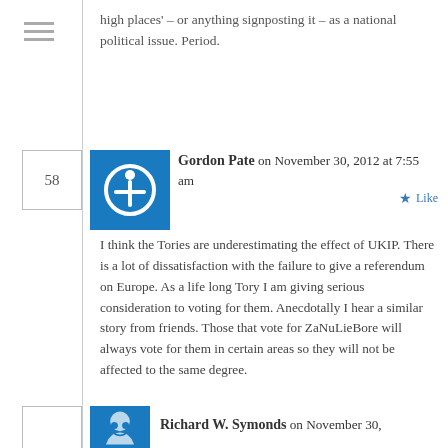high places' – or anything signposting it – as a national political issue. Period.
Gordon Pate on November 30, 2012 at 7:55 am
I think the Tories are underestimating the effect of UKIP. There is a lot of dissatisfaction with the failure to give a referendum on Europe. As a life long Tory I am giving serious consideration to voting for them. Anecdotally I hear a similar story from friends. Those that vote for ZaNuLieBore will always vote for them in certain areas so they will not be affected to the same degree.
Richard W. Symonds on November 30,